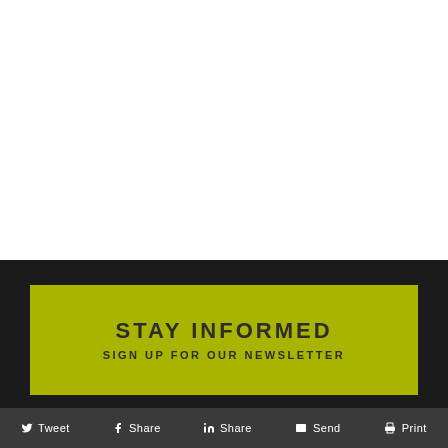[Figure (other): White blank area at top of page]
STAY INFORMED
SIGN UP FOR OUR NEWSLETTER
Tweet  Share  Share  Send  Print